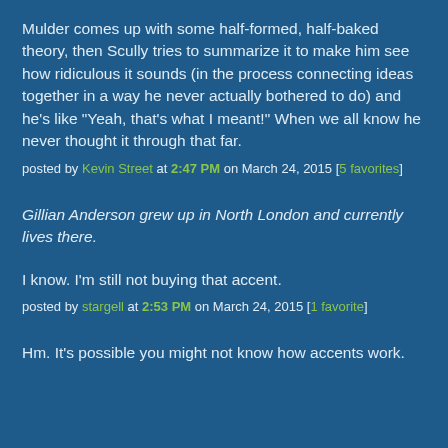Mulder comes up with some half-formed, half-baked theory, then Scully tries to summarize it to make him see how ridiculous it sounds (in the process connecting ideas together in a way he never actually bothered to do) and he's like "Yeah, that's what I meant!" When we all know he never thought it through that far.
posted by Kevin Street at 2:47 PM on March 24, 2015 [5 favorites]
Gillian Anderson grew up in North London and currently lives there.
I know. I'm still not buying that accent.
posted by stargell at 2:53 PM on March 24, 2015 [1 favorite]
Hm. It's possible you might not know how accents work.